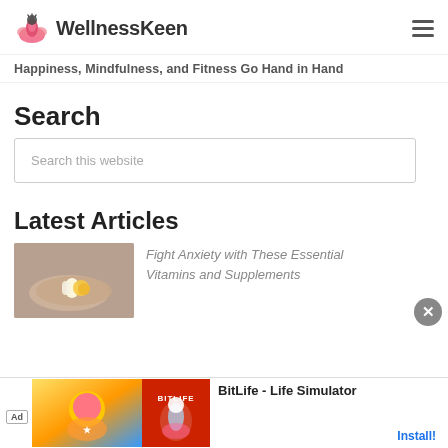WellnessKeen
Happiness, Mindfulness, and Fitness Go Hand in Hand
Search
Search this website
Latest Articles
Fight Anxiety with These Essential Vitamins and Supplements
[Figure (photo): Hand holding pills/supplements]
BitLife - Life Simulator
Install!